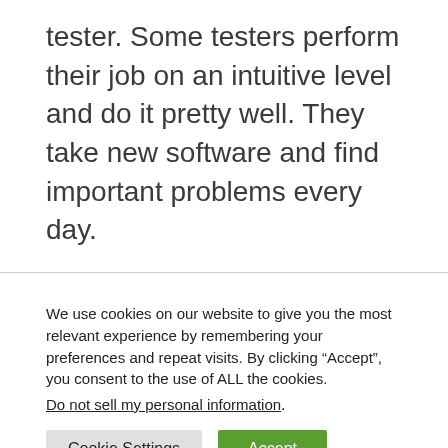tester. Some testers perform their job on an intuitive level and do it pretty well. They take new software and find important problems every day.

Improving usually means that we have to take a specific skill and study
We use cookies on our website to give you the most relevant experience by remembering your preferences and repeat visits. By clicking “Accept”, you consent to the use of ALL the cookies.
Do not sell my personal information.